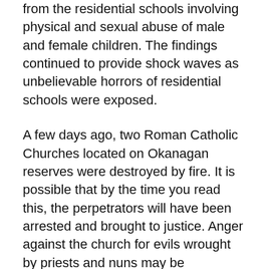from the residential schools involving physical and sexual abuse of male and female children. The findings continued to provide shock waves as unbelievable horrors of residential schools were exposed.
A few days ago, two Roman Catholic Churches located on Okanagan reserves were destroyed by fire. It is possible that by the time you read this, the perpetrators will have been arrested and brought to justice. Anger against the church for evils wrought by priests and nuns may be understandable, but revenge can never be acceptable.
I have mentioned before the repeated hope of the Truth and Reconciliation Commission that truth would lead to trust and trust would lead to desired